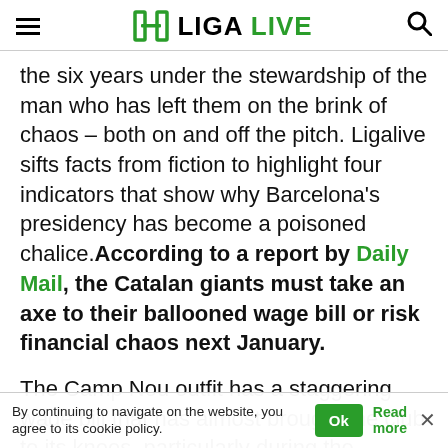LIGA LIVE
the six years under the stewardship of the man who has left them on the brink of chaos – both on and off the pitch. Ligalive sifts facts from fiction to highlight four indicators that show why Barcelona's presidency has become a poisoned chalice. According to a report by Daily Mail, the Catalan giants must take an axe to their ballooned wage bill or risk financial chaos next January.
The Camp Nou outfit has a staggering wage bill that has almost brought the club to its knees, particularly during the coronavirus pandemic. Barca reportedly pays its first-